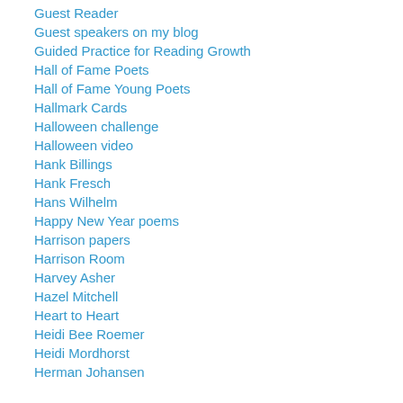Guest Reader
Guest speakers on my blog
Guided Practice for Reading Growth
Hall of Fame Poets
Hall of Fame Young Poets
Hallmark Cards
Halloween challenge
Halloween video
Hank Billings
Hank Fresch
Hans Wilhelm
Happy New Year poems
Harrison papers
Harrison Room
Harvey Asher
Hazel Mitchell
Heart to Heart
Heidi Bee Roemer
Heidi Mordhorst
Herman Johansen